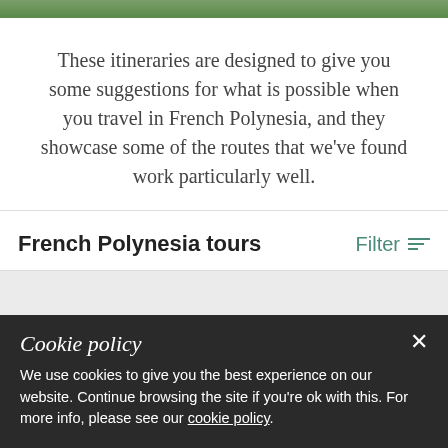[Figure (photo): Top strip showing tropical greenery background image]
These itineraries are designed to give you some suggestions for what is possible when you travel in French Polynesia, and they showcase some of the routes that we've found work particularly well.
French Polynesia tours
Filter
[Figure (photo): Blue sky with clouds image showing a featured travel destination in French Polynesia]
FEATURED
Cookie policy
We use cookies to give you the best experience on our website. Continue browsing the site if you're ok with this. For more info, please see our cookie policy.